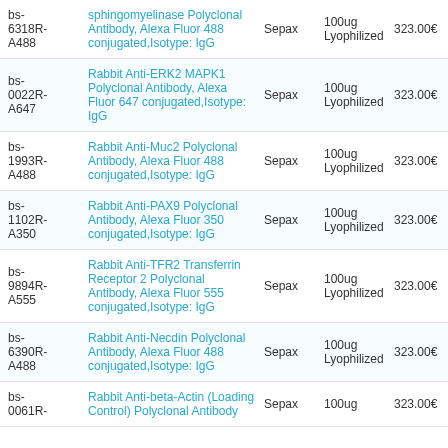| ID | Product Name | Brand | Quantity/Form | Price | PDF |  |
| --- | --- | --- | --- | --- | --- | --- |
| bs-6318R-A488 | sphingomyelinase Polyclonal Antibody, Alexa Fluor 488 conjugated,Isotype: IgG | Sepax | 100ug Lyophilized | 323.00€ | [pdf] | Pr |
| bs-0022R-A647 | Rabbit Anti-ERK2 MAPK1 Polyclonal Antibody, Alexa Fluor 647 conjugated,Isotype: IgG | Sepax | 100ug Lyophilized | 323.00€ | [pdf] | Pr |
| bs-1993R-A488 | Rabbit Anti-Muc2 Polyclonal Antibody, Alexa Fluor 488 conjugated,Isotype: IgG | Sepax | 100ug Lyophilized | 323.00€ | ASK | Pr |
| bs-1102R-A350 | Rabbit Anti-PAX9 Polyclonal Antibody, Alexa Fluor 350 conjugated,Isotype: IgG | Sepax | 100ug Lyophilized | 323.00€ | [pdf] | Pr |
| bs-9894R-A555 | Rabbit Anti-TFR2 Transferrin Receptor 2 Polyclonal Antibody, Alexa Fluor 555 conjugated,Isotype: IgG | Sepax | 100ug Lyophilized | 323.00€ | [pdf] | Pr |
| bs-6390R-A488 | Rabbit Anti-Necdin Polyclonal Antibody, Alexa Fluor 488 conjugated,Isotype: IgG | Sepax | 100ug Lyophilized | 323.00€ | [pdf] | Pr |
| bs-0061R- | Rabbit Anti-beta-Actin (Loading Control) Polyclonal Antibody | Sepax | 100ug | 323.00€ | [pdf] | Pr |